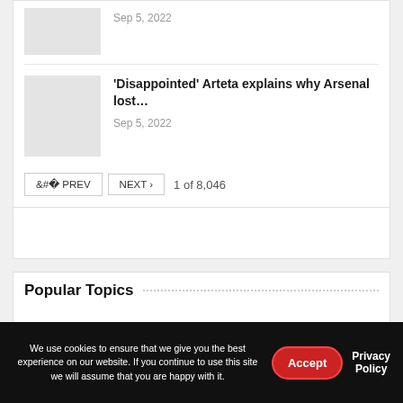[Figure (photo): Thumbnail image placeholder (light gray box) at top of card]
Sep 5, 2022
[Figure (photo): Thumbnail image placeholder (light gray box) for Arteta article]
'Disappointed' Arteta explains why Arsenal lost…
Sep 5, 2022
PREV  NEXT  1 of 8,046
[Figure (other): Advertisement box (white rectangle)]
Popular Topics
We use cookies to ensure that we give you the best experience on our website. If you continue to use this site we will assume that you are happy with it.
Accept
Privacy Policy